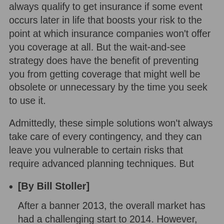always qualify to get insurance if some event occurs later in life that boosts your risk to the point at which insurance companies won't offer you coverage at all. But the wait-and-see strategy does have the benefit of preventing you from getting coverage that might well be obsolete or unnecessary by the time you seek to use it.
Admittedly, these simple solutions won't always take care of every contingency, and they can leave you vulnerable to certain risks that require advanced planning techniques. But
[By Bill Stoller]
After a banner 2013, the overall market has had a challenging start to 2014. However, these four companies have been crushing it: Alexander Real Estate (NYSE: ARE ), BioMed Realty Trust (NYSE: BMR ), CommonWealth REIT (NYSE: CWH ), and Sun Communities (NYSE: SUI ) so far in 2014 on the S&P 500. Their relative